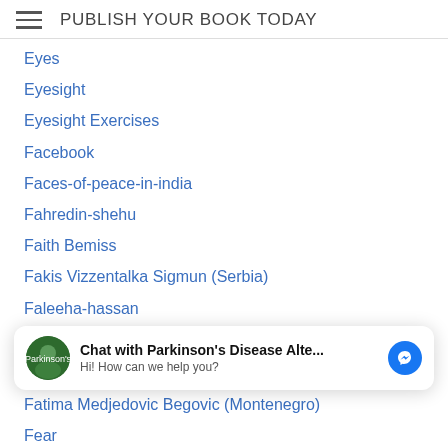PUBLISH YOUR BOOK TODAY
Eyes
Eyesight
Eyesight Exercises
Facebook
Faces-of-peace-in-india
Fahredin-shehu
Faith Bemiss
Fakis Vizzentalka Sigmun (Serbia)
Faleeha-hassan
Family
Family Travel
Fancis Of Assisi
Farm Fresh Food
Farming
[Figure (other): Chat widget: avatar with green background, bold text 'Chat with Parkinson's Disease Alte...' and subtitle 'Hi! How can we help you?', blue Messenger icon on right]
Fatima Medjedovic Begovic (Montenegro)
Fear